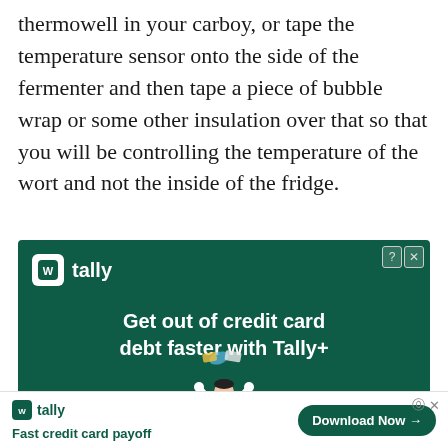thermowell in your carboy, or tape the temperature sensor onto the side of the fermenter and then tape a piece of bubble wrap or some other insulation over that so that you will be controlling the temperature of the wort and not the inside of the fridge.
[Figure (infographic): Tally advertisement banner on dark green background. Shows Tally logo (white icon with 'W' letter and 'tally' text) and headline 'Get out of credit card debt faster with Tally+'. Features an illustration of a person meditating with credit cards floating above them.]
[Figure (infographic): Bottom sticky banner ad for Tally. Shows Tally logo in green, tagline 'Fast credit card payoff', close/info buttons, and a 'Download Now →' button in dark green pill shape.]